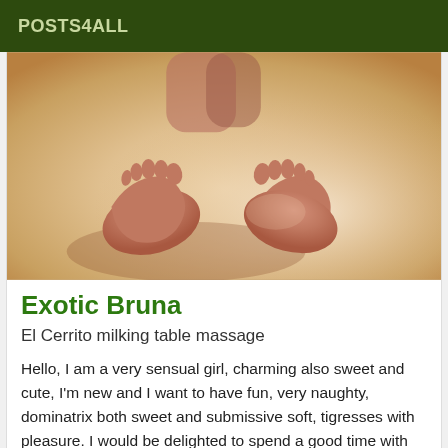POSTS4ALL
[Figure (photo): Close-up photo of two bare feet resting on a light-colored surface, warm yellowish-orange toned image]
Exotic Bruna
El Cerrito milking table massage
Hello, I am a very sensual girl, charming also sweet and cute, I'm new and I want to have fun, very naughty, dominatrix both sweet and submissive soft, tigresses with pleasure. I would be delighted to spend a good time with you I'm waiting for you as you wish.